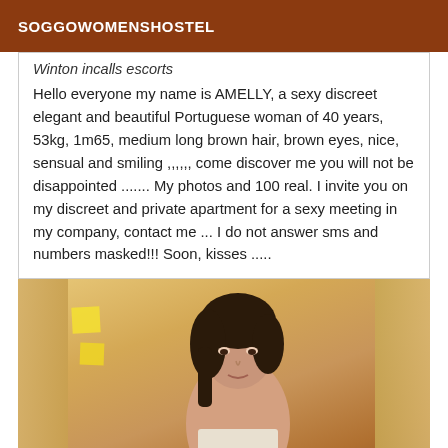SOGGOWOMENSHOSTEL
Winton incalls escorts
Hello everyone my name is AMELLY, a sexy discreet elegant and beautiful Portuguese woman of 40 years, 53kg, 1m65, medium long brown hair, brown eyes, nice, sensual and smiling ,,,,,, come discover me you will not be disappointed ....... My photos and 100 real. I invite you on my discreet and private apartment for a sexy meeting in my company, contact me ... I do not answer sms and numbers masked!!! Soon, kisses .....
[Figure (photo): Photo of a dark-haired woman standing in front of yellow/orange curtains with sticky notes visible on the left side]